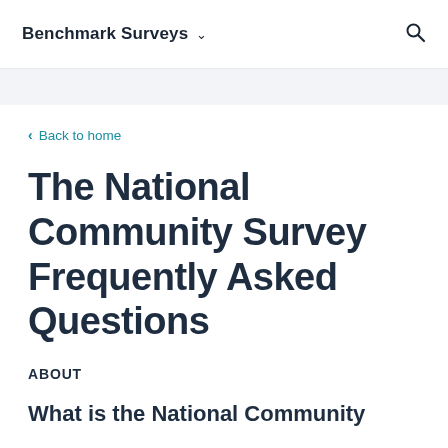Benchmark Surveys ▾
< Back to home
The National Community Survey Frequently Asked Questions
ABOUT
What is the National Community